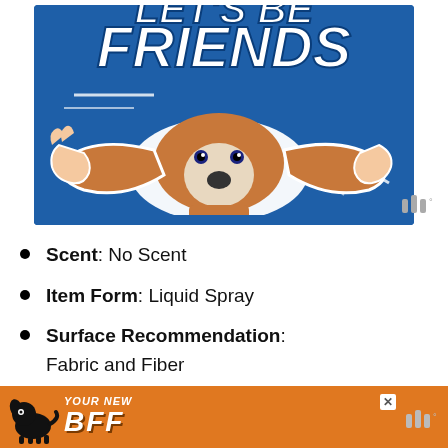[Figure (photo): Product promotional image on blue background showing a basset hound dog having its ears stretched out by human hands, with bold white italic text reading 'LET'S BE FRIENDS' at the top]
Scent: No Scent
Item Form: Liquid Spray
Surface Recommendation: Fabric and Fiber
Size: 32 Oz
[Figure (illustration): Orange advertisement banner at bottom showing a black dog silhouette and bold white italic text reading 'YOUR NEW BFF']